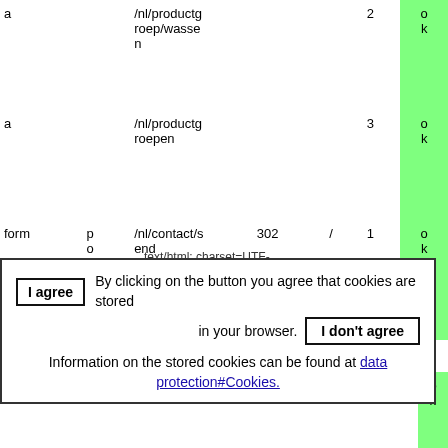| type | method | path | status | redirect | num | result |
| --- | --- | --- | --- | --- | --- | --- |
| a |  | /nl/productgroep/wassen |  |  | 2 | ok |
| a |  | /nl/productgroepen |  |  | 3 | ok |
| form | post | /nl/contact/send | 302 | / | 1 | ok |
text/html; charset=UTF-8, missing X-Content-T
I agree  By clicking on the button you agree that cookies are stored in your browser.  I don't agree
Information on the stored cookies can be found at data protection#Cookies.